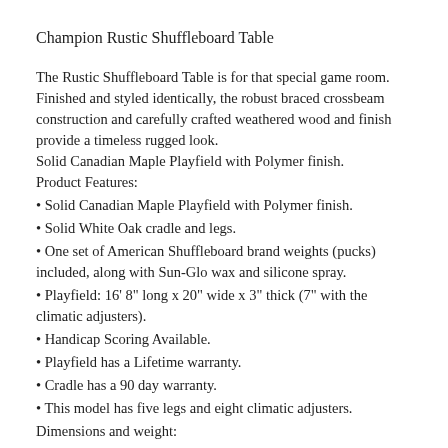Champion Rustic Shuffleboard Table
The Rustic Shuffleboard Table is for that special game room. Finished and styled identically, the robust braced crossbeam construction and carefully crafted weathered wood and finish provide a timeless rugged look.
Solid Canadian Maple Playfield with Polymer finish.
Product Features:
• Solid Canadian Maple Playfield with Polymer finish.
• Solid White Oak cradle and legs.
• One set of American Shuffleboard brand weights (pucks) included, along with Sun-Glo wax and silicone spray.
• Playfield: 16' 8" long x 20" wide x 3" thick (7" with the climatic adjusters).
• Handicap Scoring Available.
• Playfield has a Lifetime warranty.
• Cradle has a 90 day warranty.
• This model has five legs and eight climatic adjusters.
Dimensions and weight:
• Other Available Sizes: 9', 12', 14', 16', 20' and 22'.